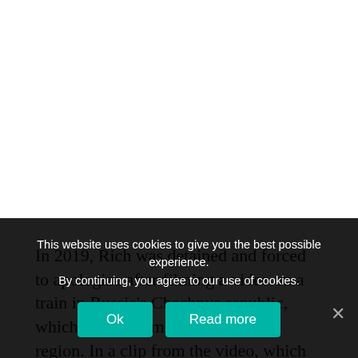In 2019, Rich was detained and forced to apologize after filming a video on a train in Russia's Chechnya republic, which is a predominantly Muslim region. In a clip from the video, which was later deleted, he privately joked that
This website uses cookies to give you the best possible experience. By continuing, you agree to our use of cookies.